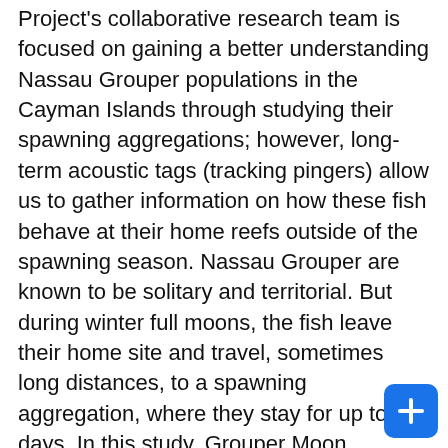Project's collaborative research team is focused on gaining a better understanding Nassau Grouper populations in the Cayman Islands through studying their spawning aggregations; however, long-term acoustic tags (tracking pingers) allow us to gather information on how these fish behave at their home reefs outside of the spawning season. Nassau Grouper are known to be solitary and territorial. But during winter full moons, the fish leave their home site and travel, sometimes long distances, to a spawning aggregation, where they stay for up to 14 days. In this study, Grouper Moon scientists used tagging data to look at movement behavior and vertical habitat use. They found that most Nassau Grouper tend to return to the same home reef following spawning, but that the areas occupied at home reefs can change through time. In particular, they found that larger fish tend to occupy deeper areas than smaller fish, and fish will generally move to deeper reef areas over time. They also found that Nassau Grouper are more likely to be active at dawn and dusk than other times of the day, likely due to feeding activities. This information is adding to what we know about this iconic species, and will help support